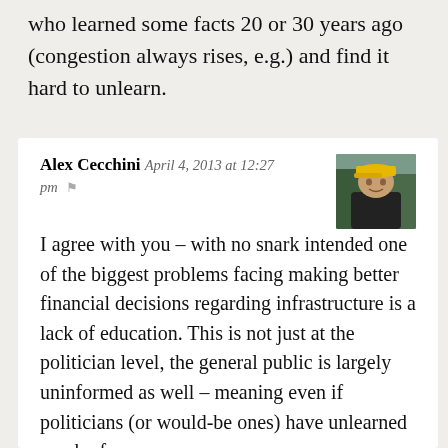who learned some facts 20 or 30 years ago (congestion always rises, e.g.) and find it hard to unlearn.
Alex Cecchini  April 4, 2013 at 12:27 pm
[Figure (photo): Profile photo of a person wearing a yellow cap, outdoors]
I agree with you – with no snark intended one of the biggest problems facing making better financial decisions regarding infrastructure is a lack of education. This is not just at the politician level, the general public is largely uninformed as well – meaning even if politicians (or would-be ones) have unlearned much of